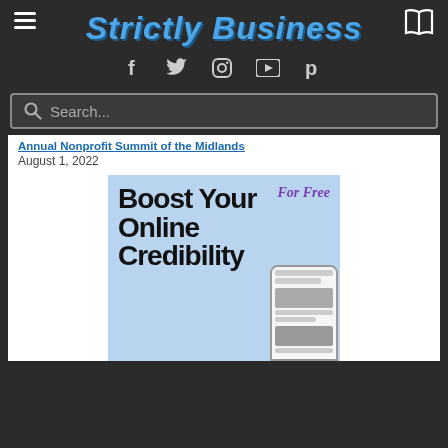Strictly Business
Annual Nonprofit Summit of the Midlands
August 1, 2022
[Figure (illustration): Promotional image: 'Boost Your Online Credibility For Free' with a smartphone mockup showing a news website on a light blue background]